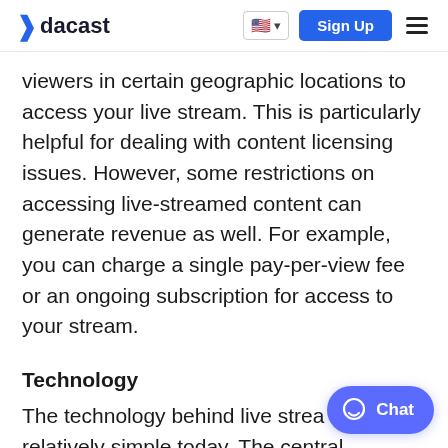dacast | Sign Up
viewers in certain geographic locations to access your live stream. This is particularly helpful for dealing with content licensing issues. However, some restrictions on accessing live-streamed content can generate revenue as well. For example, you can charge a single pay-per-view fee or an ongoing subscription for access to your stream.
Technology
The technology behind live strea relatively simple today. The central